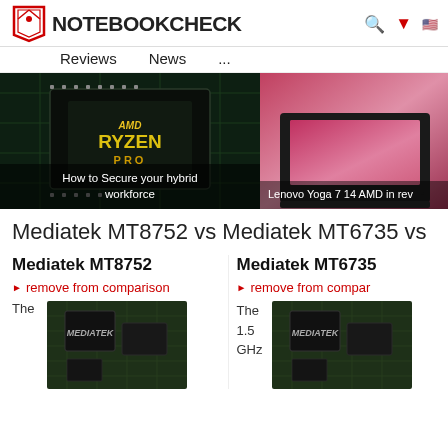NOTEBOOKCHECK — Reviews  News  ...
[Figure (screenshot): Hero image left: AMD Ryzen PRO chip on circuit board with caption 'How to Secure your hybrid workforce']
[Figure (screenshot): Hero image right: Lenovo Yoga 7 14 AMD laptop with caption 'Lenovo Yoga 7 14 AMD in rev']
Mediatek MT8752 vs Mediatek MT6735 vs
Mediatek MT8752
Mediatek MT6735
remove from comparison
remove from compar
[Figure (photo): MediaTek chip on green circuit board]
[Figure (photo): MediaTek chip on green circuit board (second)]
The
The 1.5 GHz